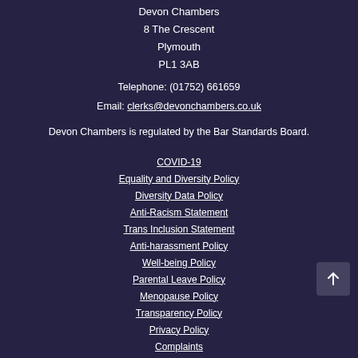Devon Chambers
8 The Crescent
Plymouth
PL1 3AB
Telephone: (01752) 661659
Email: clerks@devonchambers.co.uk
Devon Chambers is regulated by the Bar Standards Board.
COVID-19
Equality and Diversity Policy
Diversity Data Policy
Anti-Racism Statement
Trans Inclusion Statement
Anti-harassment Policy
Well-being Policy
Parental Leave Policy
Menopause Policy
Transparency Policy
Privacy Policy
Complaints